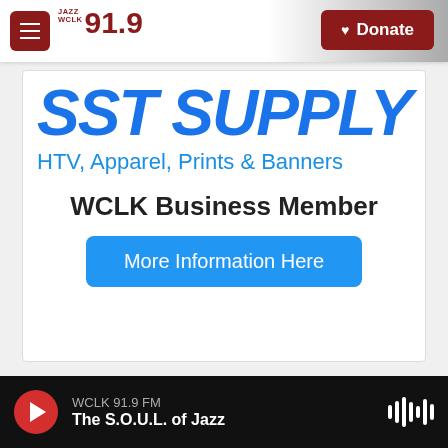JAZZ WCLK 91.9
[Figure (logo): JAZZ WCLK 91.9 FM radio station logo with red hamburger menu button and red Donate button]
SST SUPPLY
HTV, Apparel, Prints & Banners
WCLK Business Member
More Information Here
WCLK 91.9 FM
The S.O.U.L. of Jazz